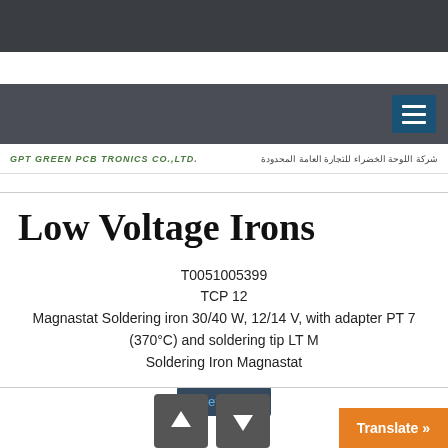GPT GREEN PCB TRONICS CO.,LTD. | شركة اللوحة الخضراء للتجارة العامة المحدودة
Low Voltage Irons
T0051005399
TCP 12
Magnastat Soldering iron 30/40 W, 12/14 V, with adapter PT 7 (370°C) and soldering tip LT M
Soldering Iron Magnastat
Details >
Translate »